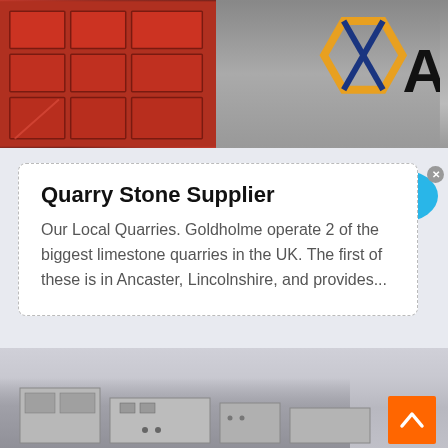[Figure (photo): Left portion: red industrial trays or molds arranged in a grid pattern. Right portion: industrial equipment with a blue, orange and dark blue logo showing 'AM' text.]
Quarry Stone Supplier
Our Local Quarries. Goldholme operate 2 of the biggest limestone quarries in the UK. The first of these is in Ancaster, Lincolnshire, and provides...
[Figure (photo): Bottom image showing industrial/factory machinery in grayscale. Orange back-to-top button with upward chevron arrow in bottom right corner.]